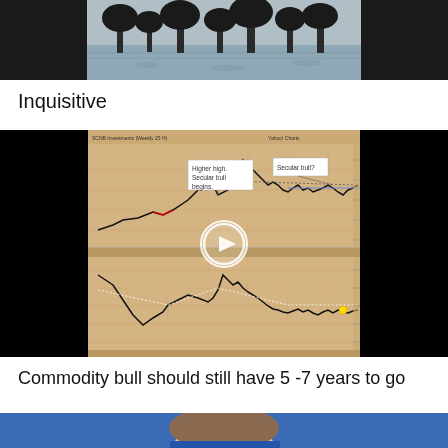[Figure (photo): Black and white winter landscape photo with trees reflected in water, dark background on sides]
Inquisitive
[Figure (screenshot): Financial chart screenshot showing commodity bull market cycle analysis with two panels - top panel shows secular bull market with annotations 'Higher high. Secular bull begins.' and 'Secular bull?' with a video play button overlay. Bottom panel shows related commodity chart with a yellow marker near current price.]
Commodity bull should still have 5 -7 years to go
[Figure (photo): Partial view of a person against a blue background, cropped at bottom of page]